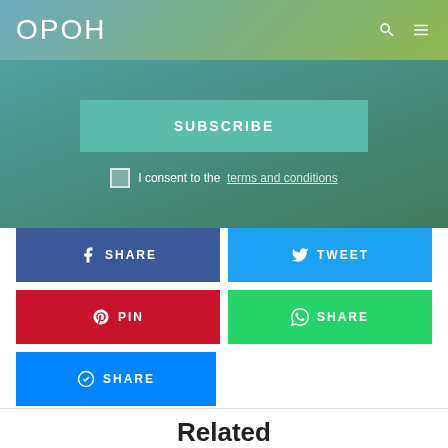OPOH
SUBSCRIBE
I consent to the terms and conditions
f SHARE
TWEET
PIN
SHARE
SHARE
Related